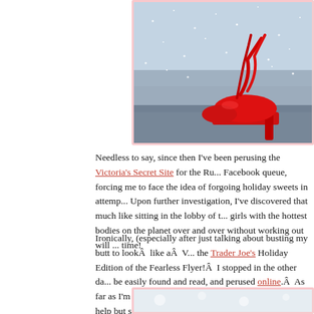[Figure (photo): Close-up photo of a red high-heeled shoe with ankle wrap ribbons, against a sparkling silver/blue glittery background. The shoe has a platform sole. Image has a soft pink border.]
Needless to say, since then I've been perusing the Victoria's Secret Site for the Ru... Facebook queue, forcing me to face the idea of forgoing holiday sweets in attemp... Upon further investigation, I've discovered that much like sitting in the lobby of t... girls with the hottest bodies on the planet over and over without working out will ... time!
Ironically, (especially after just talking about busting my butt to lookÂ  like aÂ  V... the Trader Joe's Holiday Edition of the Fearless Flyer!Â  I stopped in the other da... be easily found and read, and perused online.Â  As far as I'm concerned, that's de... dream up, and I couldn't help but see eggnog-flavored goodies dancing through m... possible, even, that I look forward to it more than the TJ's Flyer.Â  Gasp!Â  One p... hands!
[Figure (photo): Bottom portion of a photo, partially visible, with a light/white snowy or icy surface.]